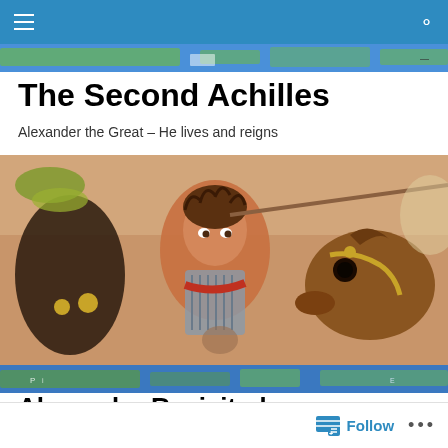Navigation bar with hamburger menu and search icon
[Figure (map): Top map strip showing Mediterranean/world map region in blue and green tones]
The Second Achilles
Alexander the Great – He lives and reigns
[Figure (photo): Ancient Roman mosaic depicting Alexander the Great on horseback during battle, showing a young man in armor with curly hair, with a horse visible on the right side]
[Figure (map): Bottom map strip showing Mediterranean/world map in blue and green tones with small text labels]
Alexander Revisited:
Olympias: Mourning to...